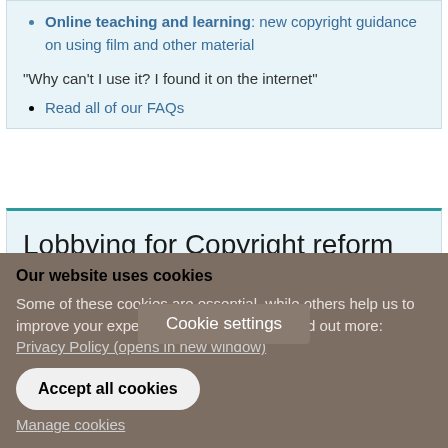Online teaching and learning: new copyright guidance on using film and other material
"Why can't I use it? I found it on the internet"
Read all of our FAQs
Lobbying for Copyright reform
Copyright for ...
[Figure (screenshot): Cookie settings button overlay]
Our website uses cookies
Some of these cookies are essential, while others help us to improve your experience of our website. Find out more: Privacy Policy (opens in new window)
Accept all cookies
Manage cookies